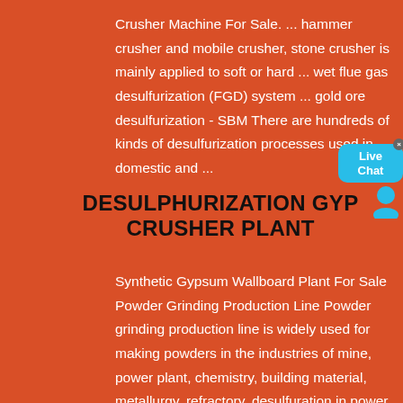Crusher Machine For Sale. ... hammer crusher and mobile crusher, stone crusher is mainly applied to soft or hard ... wet flue gas desulfurization (FGD) system ... gold ore desulfurization - SBM There are hundreds of kinds of desulfurization processes used in domestic and ...
[Figure (illustration): Live Chat speech bubble widget with blue bubble, silhouette icon, and close X button]
DESULPHURIZATION GYP CRUSHER PLANT
Synthetic Gypsum Wallboard Plant For Sale Powder Grinding Production Line Powder grinding production line is widely used for making powders in the industries of mine, power plant, chemistry, building material, metallurgy, refractory, desulfuration in power